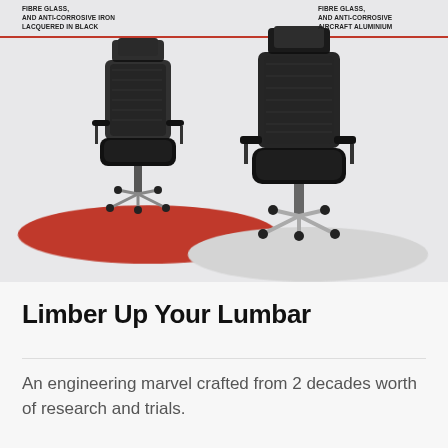[Figure (photo): Two black ergonomic mesh office chairs displayed on red and white/grey oval platforms against a light grey background. Text overlays at top describe materials including fibre glass and anti-corrosive iron/aluminium components.]
FIBRE GLASS, AND ANTI-CORROSIVE IRON LACQUERED IN BLACK
FIBRE GLASS, AND ANTI-CORROSIVE AIRCRAFT ALUMINIUM
Limber Up Your Lumbar
An engineering marvel crafted from 2 decades worth of research and trials.